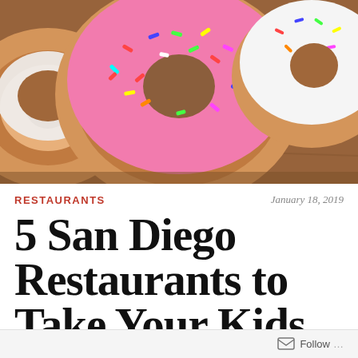[Figure (photo): Close-up photo of colorful donuts including a pink frosted donut with sprinkles in the center, a white frosted donut on the right, and a plain donut on the left, on a wooden surface]
RESTAURANTS
January 18, 2019
5 San Diego Restaurants to Take Your Kids
No matter if you've lived in the San Diego area
Follow